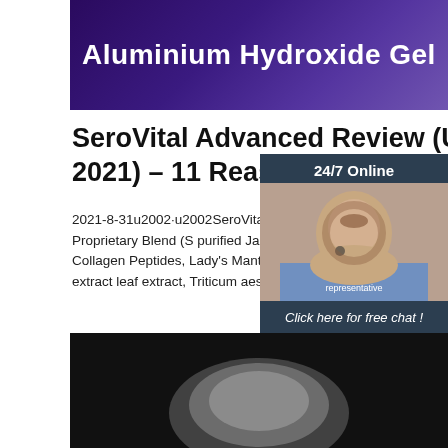[Figure (illustration): Dark purple gradient banner with white bold text reading 'Aluminium Hydroxide Gel']
SeroVital Advanced Review (UPDATE: 2021) – 11 Reas
2021-8-31u2002·u2002SeroVital Advanced conta following active ingredients: Proprietary Blend (S purified Japanese Glucomannan, Coffee bean ex Chlorella, Collagen Peptides, Lady's Mantle leaf leaf extract, Hyaluronic acid, Cumin seed extract leaf extract, Triticum aestivum seed extract, and Peptides) 1,016 ...
[Figure (photo): Customer service representative woman with headset, smiling, with '24/7 Online' text above and 'Click here for free chat!' and orange QUOTATION button below, on dark background panel]
[Figure (illustration): Orange 'TOP' icon with triangular arrow pointing upward made of dots]
[Figure (photo): Dark photo of aluminium hydroxide gel powder at the bottom of the page]